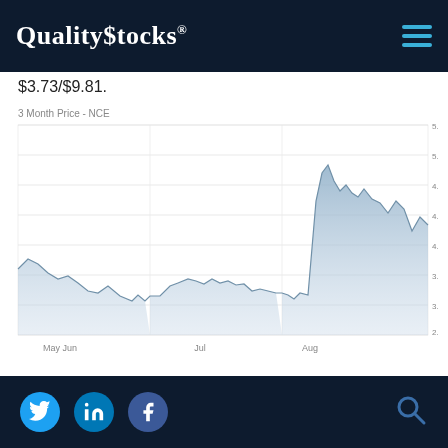QualityStocks®
$3.73/$9.81.
[Figure (area-chart): 3-month stock price area chart for NCE showing price range approximately $2.75 to $5.25, from May through late August 2022. Price starts around $3.4 in May, dips to ~$2.9 by June, stays low through mid-July around $3.0-$3.2, then surges in August to a peak of ~$4.9, before declining slightly to ~$4.2 by late August.]
August 26, 2022
© quoteme
Social media links: Twitter, LinkedIn, Facebook